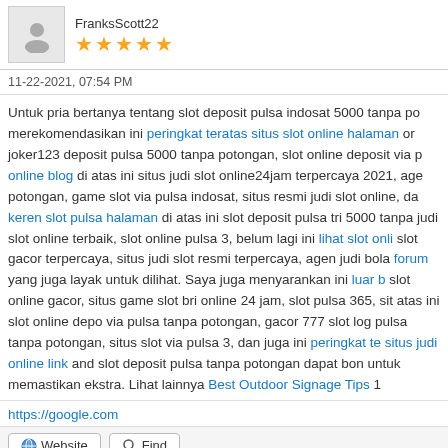FranksScott22 ★★★★★
11-22-2021, 07:54 PM
Untuk pria bertanya tentang slot deposit pulsa indosat 5000 tanpa po merekomendasikan ini peringkat teratas situs slot online halaman or joker123 deposit pulsa 5000 tanpa potongan, slot online deposit via p online blog di atas ini situs judi slot online24jam terpercaya 2021, age potongan, game slot via pulsa indosat, situs resmi judi slot online, da keren slot pulsa halaman di atas ini slot deposit pulsa tri 5000 tanpa judi slot online terbaik, slot online pulsa 3, belum lagi ini lihat slot onli slot gacor terpercaya, situs judi slot resmi terpercaya, agen judi bola forum yang juga layak untuk dilihat. Saya juga menyarankan ini luar b slot online gacor, situs game slot bri online 24 jam, slot pulsa 365, sit atas ini slot online depo via pulsa tanpa potongan, gacor 777 slot log pulsa tanpa potongan, situs slot via pulsa 3, dan juga ini peringkat te situs judi online link and slot deposit pulsa tanpa potongan dapat bon untuk memastikan ekstra. Lihat lainnya Best Outdoor Signage Tips 1
https://google.com
Website   Find